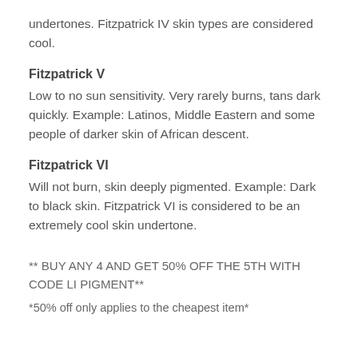undertones. Fitzpatrick IV skin types are considered cool.
Fitzpatrick V
Low to no sun sensitivity. Very rarely burns, tans dark quickly. Example: Latinos, Middle Eastern and some people of darker skin of African descent.
Fitzpatrick VI
Will not burn, skin deeply pigmented. Example: Dark to black skin. Fitzpatrick VI is considered to be an extremely cool skin undertone.
** BUY ANY 4 AND GET 50% OFF THE 5TH WITH CODE LI PIGMENT**
*50% off only applies to the cheapest item*